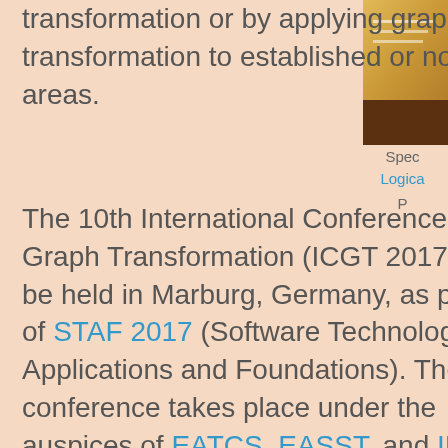theory of graph transformation or by applying graph transformation to established or novel areas.
[Figure (photo): Book cover image partially visible on the right side]
Spec
Logica
P
The 10th International Conference on Graph Transformation (ICGT 2017) will be held in Marburg, Germany, as part of STAF 2017 (Software Technologies: Applications and Foundations). The conference takes place under the auspices of EATCS, EASST, and IFIP WG 1.3. Proceedings will